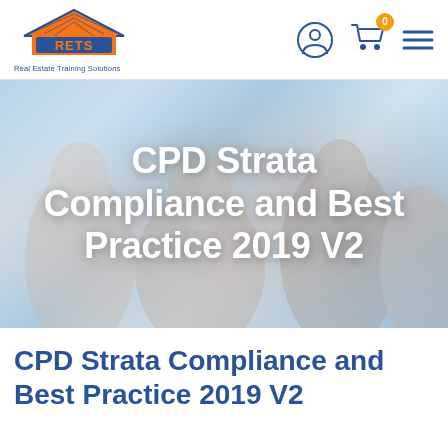[Figure (logo): RETS - Real Estate Training Solutions logo with house/roof icon in orange and blue]
[Figure (infographic): Navigation icons: user account circle icon, shopping cart with orange badge showing 0, hamburger menu lines]
[Figure (photo): Hero banner photo showing smiling people looking upward, overlaid with large white text: CPD Strata Compliance and Best Practice 2019 V2]
CPD Strata Compliance and Best Practice 2019 V2